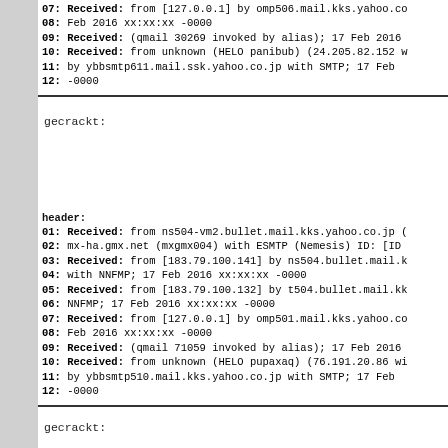07: Received: from [127.0.0.1] by omp506.mail.kks.yahoo.co
08: Feb 2016 xx:xx:xx -0000
09: Received: (qmail 30269 invoked by alias); 17 Feb 2016
10: Received: from unknown (HELO panibub) (24.205.82.152 w
11:    by ybbsmtp611.mail.ssk.yahoo.co.jp with SMTP; 17 Feb
12: -0000
gecrackt:
header:
01: Received: from ns504-vm2.bullet.mail.kks.yahoo.co.jp (
02:   mx-ha.gmx.net (mxgmx004) with ESMTP (Nemesis) ID: [ID
03: Received: from [183.79.100.141] by ns504.bullet.mail.k
04: with NNFMP; 17 Feb 2016 xx:xx:xx -0000
05: Received: from [183.79.100.132] by t504.bullet.mail.kk
06: NNFMP; 17 Feb 2016 xx:xx:xx -0000
07: Received: from [127.0.0.1] by omp501.mail.kks.yahoo.co
08: Feb 2016 xx:xx:xx -0000
09: Received: (qmail 71059 invoked by alias); 17 Feb 2016
10: Received: from unknown (HELO pupaxaq) (76.191.20.86 wi
11:    by ybbsmtp510.mail.kks.yahoo.co.jp with SMTP; 17 Feb
12: -0000
gecrackt: